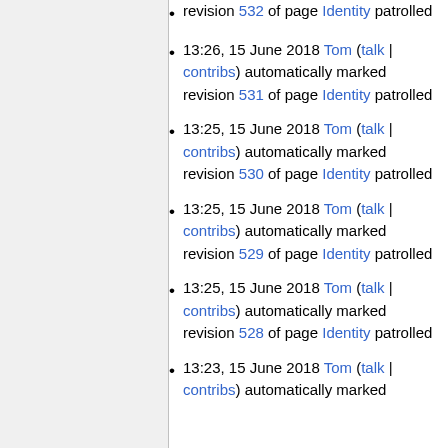revision 532 of page Identity patrolled
13:26, 15 June 2018 Tom (talk | contribs) automatically marked revision 531 of page Identity patrolled
13:25, 15 June 2018 Tom (talk | contribs) automatically marked revision 530 of page Identity patrolled
13:25, 15 June 2018 Tom (talk | contribs) automatically marked revision 529 of page Identity patrolled
13:25, 15 June 2018 Tom (talk | contribs) automatically marked revision 528 of page Identity patrolled
13:23, 15 June 2018 Tom (talk | contribs) automatically marked